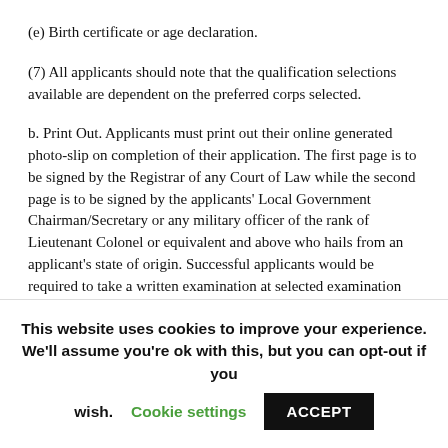(e) Birth certificate or age declaration.
(7) All applicants should note that the qualification selections available are dependent on the preferred corps selected.
b. Print Out. Applicants must print out their online generated photo-slip on completion of their application. The first page is to be signed by the Registrar of any Court of Law while the second page is to be signed by the applicants' Local Government Chairman/Secretary or any military officer of the rank of Lieutenant Colonel or equivalent and above who hails from an applicant's state of origin. Successful applicants would be required to take a written examination at selected examination centers
This website uses cookies to improve your experience. We'll assume you're ok with this, but you can opt-out if you wish. Cookie settings ACCEPT